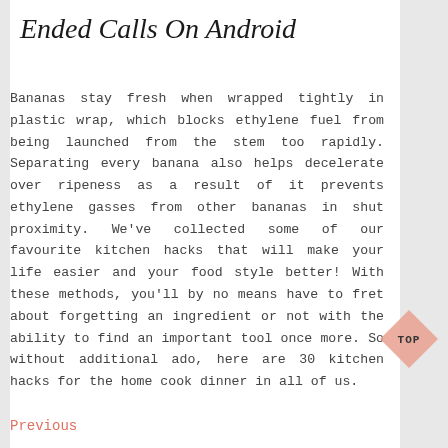Ended Calls On Android
Bananas stay fresh when wrapped tightly in plastic wrap, which blocks ethylene fuel from being launched from the stem too rapidly. Separating every banana also helps decelerate over ripeness as a result of it prevents ethylene gasses from other bananas in shut proximity. We've collected some of our favourite kitchen hacks that will make your life easier and your food style better! With these methods, you'll by no means have to fret about forgetting an ingredient or not with the ability to find an important tool once more. So without additional ado, here are 30 kitchen hacks for the home cook dinner in all of us.
[Figure (illustration): Pink diamond/rhombus shape with the text 'TOP' inside, used as a back-to-top navigation button]
Previous